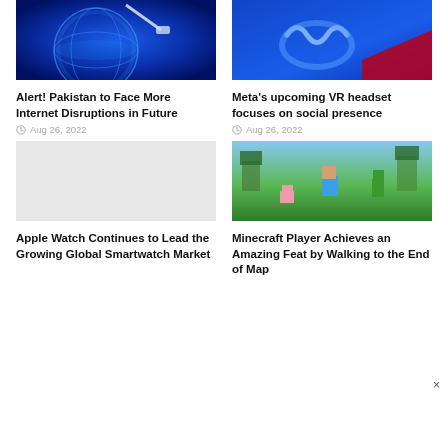[Figure (photo): Globe with ethernet cable and blue digital network light effects]
Alert! Pakistan to Face More Internet Disruptions in Future
Aug 26, 2022
[Figure (photo): Meta VR headset blue close-up with red accent]
Meta's upcoming VR headset focuses on social presence
Aug 26, 2022
[Figure (photo): Empty/placeholder image for Apple Watch article]
Apple Watch Continues to Lead the Growing Global Smartwatch Market
[Figure (photo): Minecraft characters including Steve and Creeper walking on grassy terrain]
Minecraft Player Achieves an Amazing Feat by Walking to the End of Map